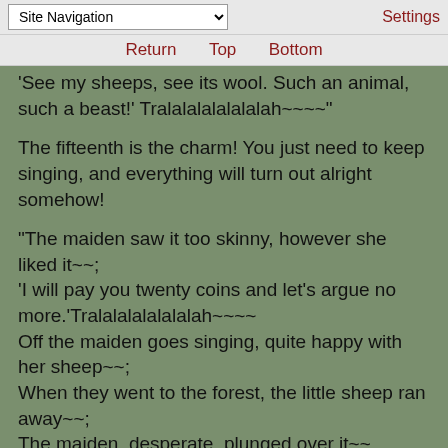Site Navigation | Settings
Return  Top  Bottom
'See my sheeps, see its wool. Such an animal, such a beast!' Tralalalalalalalah~~~~"
The fifteenth is the charm! You just need to keep singing, and everything will turn out alright somehow!
"The maiden saw it too skinny, however she liked it~~;
'I will pay you twenty coins and let's argue no more.'Tralalalalalalalah~~~~
Off the maiden goes singing, quite happy with her sheep~~;
When they went to the forest, the little sheep ran away~~;
The maiden, desperate, plunged over it~~, quickly and artfully, she pounded it from behind~~
Tralalalalalalala... lalalah?"
You spot a small light up ahead... a lamp or lantern? But weren't all the lights off because everybody was